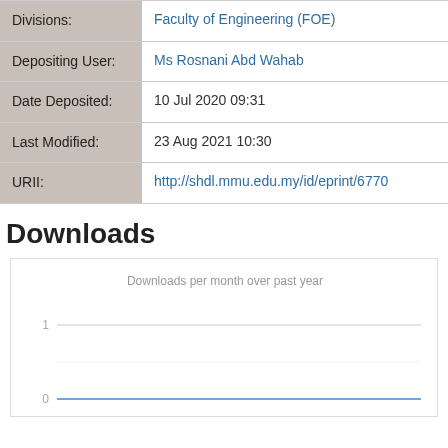| Field | Value |
| --- | --- |
| Divisions: | Faculty of Engineering (FOE) |
| Depositing User: | Ms Rosnani Abd Wahab |
| Date Deposited: | 10 Jul 2020 09:31 |
| Last Modified: | 23 Aug 2021 10:30 |
| URII: | http://shdl.mmu.edu.my/id/eprint/6770 |
Downloads
[Figure (line-chart): Line chart showing downloads per month over past year, with y-axis from 0 to 1, chart appears mostly flat near 0]